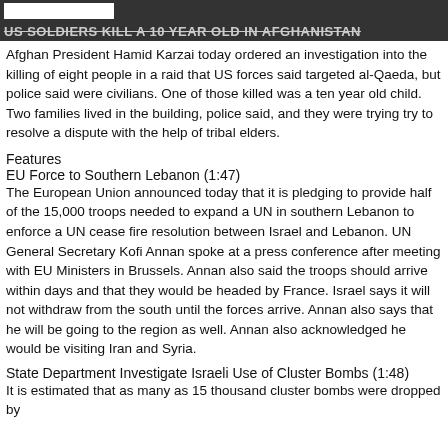US SOLDIERS KILL A 10 YEAR OLD IN AFGHANISTAN
Afghan President Hamid Karzai today ordered an investigation into the killing of eight people in a raid that US forces said targeted al-Qaeda, but police said were civilians. One of those killed was a ten year old child. Two families lived in the building, police said, and they were trying try to resolve a dispute with the help of tribal elders.
Features
EU Force to Southern Lebanon (1:47)
The European Union announced today that it is pledging to provide half of the 15,000 troops needed to expand a UN in southern Lebanon to enforce a UN cease fire resolution between Israel and Lebanon. UN General Secretary Kofi Annan spoke at a press conference after meeting with EU Ministers in Brussels. Annan also said the troops should arrive within days and that they would be headed by France. Israel says it will not withdraw from the south until the forces arrive. Annan also says that he will be going to the region as well. Annan also acknowledged he would be visiting Iran and Syria.
State Department Investigate Israeli Use of Cluster Bombs (1:48)
It is estimated that as many as 15 thousand cluster bombs were dropped by